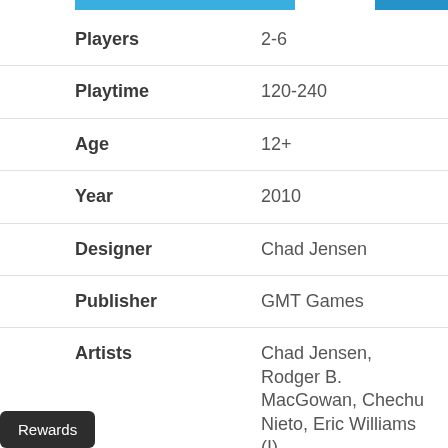[Figure (other): Blue navigation/header bars at top of page]
| Players | 2-6 |
| Playtime | 120-240 |
| Age | 12+ |
| Year | 2010 |
| Designer | Chad Jensen |
| Publisher | GMT Games |
| Artists | Chad Jensen, Rodger B. MacGowan, Chechu Nieto, Eric Williams (I) |
| Mechanics | Drafting, Area |
Rewards